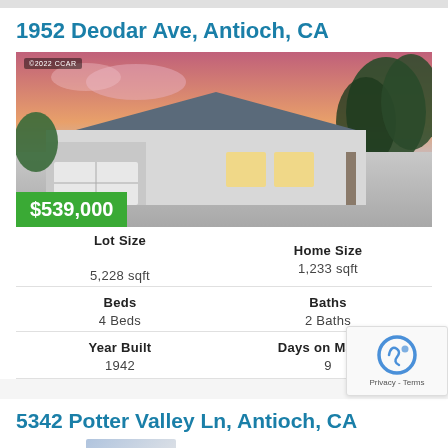1952 Deodar Ave, Antioch, CA
[Figure (photo): Exterior photo of a single-story gray house at dusk with driveway, trees, and pink/purple sky. Price badge showing $539,000 overlaid at bottom left.]
| Lot Size | Home Size |
| --- | --- |
| 5,228 sqft | 1,233 sqft |
| Beds | Baths |
| 4 Beds | 2 Baths |
| Year Built | Days on Market |
| 1942 | 9 |
5342 Potter Valley Ln, Antioch, CA
[Figure (photo): Partial exterior photo of another property listing with ©2022 bridgeMLS watermark.]